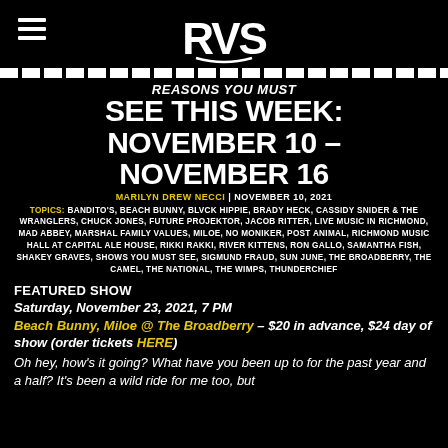[Figure (logo): RVS logo in white stylized letters on black background with hamburger menu icon on the left]
REASONS YOU MUST SEE THIS WEEK: NOVEMBER 10 – NOVEMBER 16
MARILYN DREW NECCI | NOVEMBER 10, 2021
TOPICS: BANDITO'S, BEACH BUNNY, BLVCK HIPPIE, BRADY HECK, CASSIDY SNIDER & THE WRANGLERS, CHUCK JONES, FUTURE PROJEKTOR, JACOB RITTER, LIVE MUSIC IN RICHMOND, MAD ABBEY, MARSHAL FAMILY VALUES, MILOE, NO MONIKER, POST ANIMAL, RICHMOND MUSIC HALL AT CAPITAL ALE HOUSE, RIKKI RAKKI, RIVER KITTENS, RON GALLO, SAMANTHA FISH, SHAKEY GRAVES, SHOWS YOU MUST SEE, SIGMUND FRAUD, SUN JUNE, THE BROADBERRY, THE CAMEL, THE NATIONAL, THE WIMPS, THUNDERCHIEF
FEATURED SHOW
Saturday, November 23, 2021, 7 PM
Beach Bunny, Miloe @ The Broadberry – $20 in advance, $24 day of show (order tickets HERE)
Oh hey, how's it going? What have you been up to for the past year and a half? It's been a wild ride for me too, but